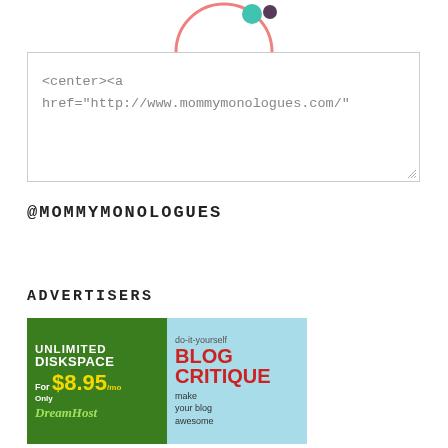[Figure (logo): Partial circular logo with pink/coral ring and teal/purple dots at top of page]
<center><a href="http://www.mommymonologues.com/"
@MOMMYMONOLOGUES
ADVERTISERS
[Figure (illustration): DreamHost advertisement: green background with 'UNLIMITED DISKSPACE For Only $8.95/mo DreamHost']
[Figure (illustration): Do-it-yourself Blog Critique advertisement: light blue background with 'BLOG CRITIQUE make your blog awesome']